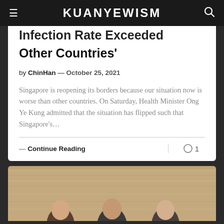KUANYEWISM
Infection Rate Exceeded Other Countries'
by ChinHan — October 25, 2021
Singapore is reopening its borders because our situation now is worse than other countries. On Saturday, Health Minister Ong Ye Kung admitted that the situation has flipped such that Singapore's…
— Continue Reading
[Figure (photo): Photo at the bottom of the page showing people in front of a wooden background, partially visible]